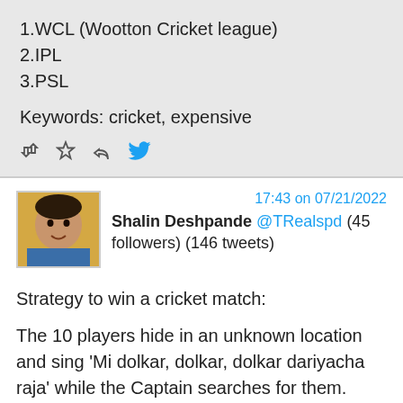1.WCL (Wootton Cricket league)
2.IPL
3.PSL
Keywords: cricket, expensive
17:43 on 07/21/2022
Shalin Deshpande @TRealspd (45 followers) (146 tweets)
Strategy to win a cricket match:
The 10 players hide in an unknown location and sing 'Mi dolkar, dolkar, dolkar dariyacha raja' while the Captain searches for them.